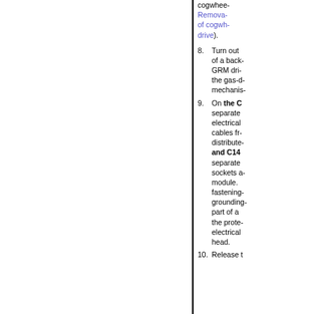cogwheel... Removal of cogwheel drive).
8. Turn out of a back- GRM drive the gas-d- mechanis-
9. On the C separate electrical cables from distributed and C14 separate sockets a module. fastening grounding part of a the prote electrical head.
10. Release t